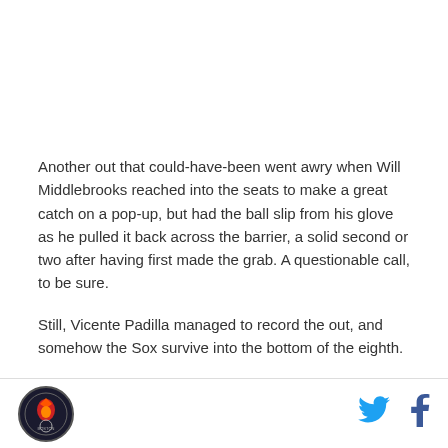Another out that could-have-been went awry when Will Middlebrooks reached into the seats to make a great catch on a pop-up, but had the ball slip from his glove as he pulled it back across the barrier, a solid second or two after having first made the grab. A questionable call, to be sure.
Still, Vicente Padilla managed to record the out, and somehow the Sox survive into the bottom of the eighth.
[Figure (logo): Circular team logo in footer]